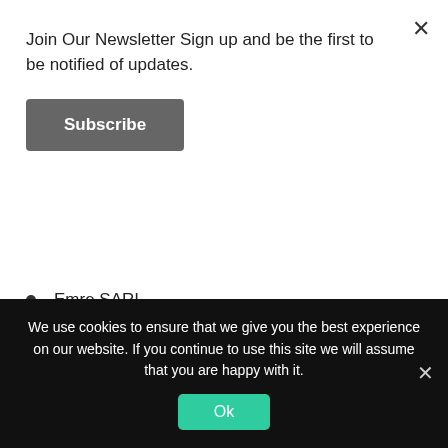Join Our Newsletter Sign up and be the first to be notified of updates.
Subscribe
Emre SARI
Adam Armstrong
ABOUT THE PODCAST
[Figure (photo): Two keyboard keys showing letters M and T on a beige/tan background, inside a white rounded rectangle card.]
We use cookies to ensure that we give you the best experience on our website. If you continue to use this site we will assume that you are happy with it.
Ok